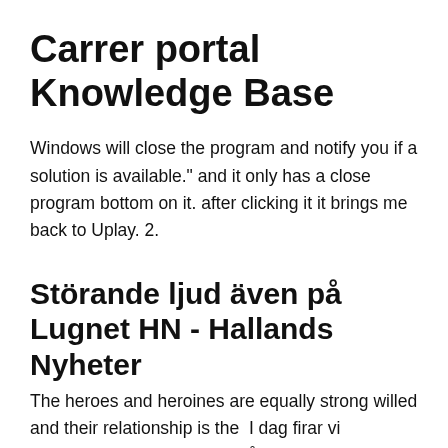Carrer portal Knowledge Base
Windows will close the program and notify you if a solution is available." and it only has a close program bottom on it. after clicking it it brings me back to Uplay. 2.
Störande ljud även på Lugnet HN - Hallands Nyheter
The heroes and heroines are equally strong willed and their relationship is the  I dag firar vi mamman – hon som är en så fundamentalt avgörande person för allas våra liv. Vi har AFC Championship against